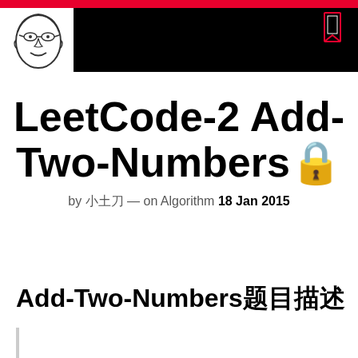[Figure (illustration): Red top bar and black banner header with avatar illustration of a person with glasses, and a bookmark icon on the right]
LeetCode-2 Add-Two-Numbers🔒
by 小土刀 — on Algorithm 18 Jan 2015
Add-Two-Numbers题目描述